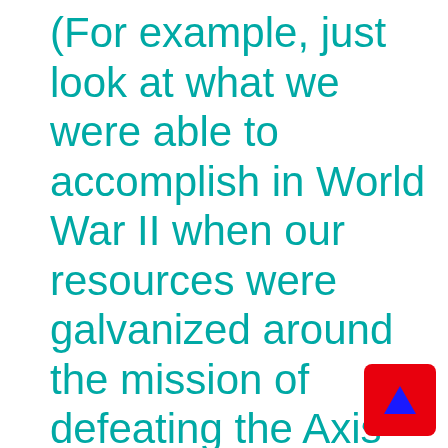(For example, just look at what we were able to accomplish in World War II when our resources were galvanized around the mission of defeating the Axis Powers—the sacrifices people made and the incredible amount of resolve that determined our capacity to emerge victorious. But so far, it seems that that level of commitment only shows up wh…
[Figure (other): Red square navigation button with a blue upward-pointing arrow in the center, positioned in the bottom-right corner]